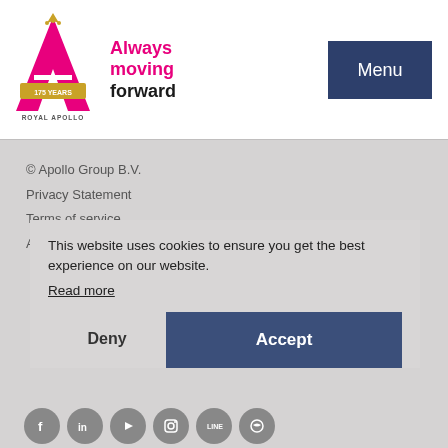[Figure (logo): Royal Apollo Group logo — pink letter A with gold crown and '175 YEARS' banner, text 'ROYAL APOLLO Group' below]
Always moving forward
Menu
© Apollo Group B.V.
Privacy Statement
Terms of service
Apollo USA
[Figure (other): Social media icons: Facebook, LinkedIn, YouTube, Instagram, LINE, and a chat icon — all gray circular buttons]
This website uses cookies to ensure you get the best experience on our website.
Read more
Deny
Accept
Website by OMD branding